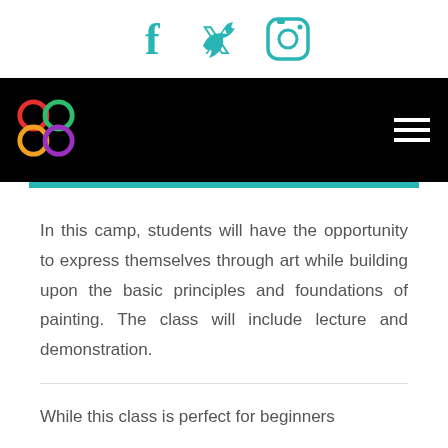[Figure (other): Social media icons: Facebook, Twitter, Instagram in teal color]
[Figure (logo): Art center logo with colorful overlapping circles on black navigation bar with hamburger menu]
In this camp, students will have the opportunity to express themselves through art while building upon the basic principles and foundations of painting. The class will include lecture and demonstration.
While this class is perfect for beginners